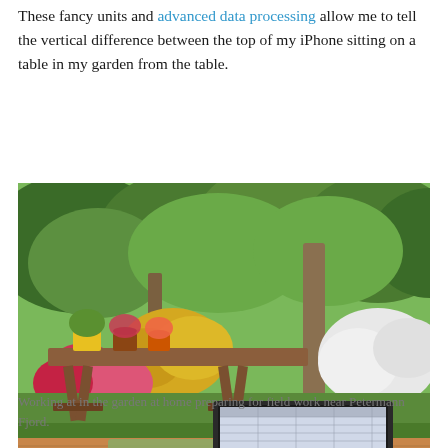These fancy units and advanced data processing allow me to tell the vertical difference between the top of my iPhone sitting on a table in my garden from the table.
[Figure (photo): Outdoor garden scene showing a wooden table/bench with potted flowering plants (yellow, red, pink flowers), lush green trees and shrubs in the background, white flowering shrubs on the right, and in the foreground a laptop computer on a green mat on a wooden deck.]
Working at in the garden at home preparing for field work near Petermann Fjord.